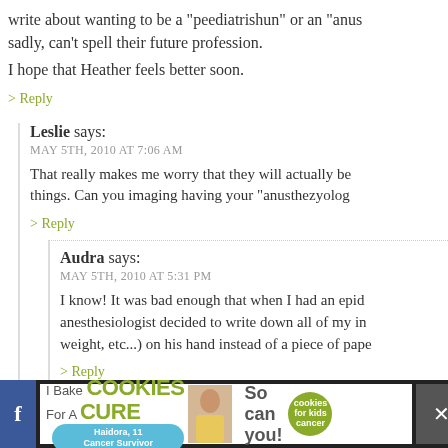write about wanting to be a "peediatrishun" or an "anus... sadly, can't spell their future profession.
I hope that Heather feels better soon.
> Reply
Leslie says:
MAY 5TH, 2010 AT 7:06 AM
That really makes me worry that they will actually be... things. Can you imaging having your "anusthezyolog...
> Reply
Audra says:
MAY 5TH, 2010 AT 5:31 PM
I know! It was bad enough that when I had an epid... anesthesiologist decided to write down all of my in... weight, etc...) on his hand instead of a piece of pape...
> Reply
[Figure (screenshot): Advertisement banner: I Bake COOKIES For A CURE with cookies for kids cancer logo]